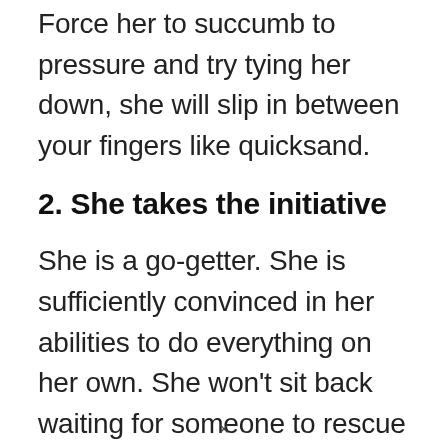Force her to succumb to pressure and try tying her down, she will slip in between your fingers like quicksand.
2. She takes the initiative
She is a go-getter. She is sufficiently convinced in her abilities to do everything on her own. She won't sit back waiting for someone to rescue her. She will involve herself in your life,
×